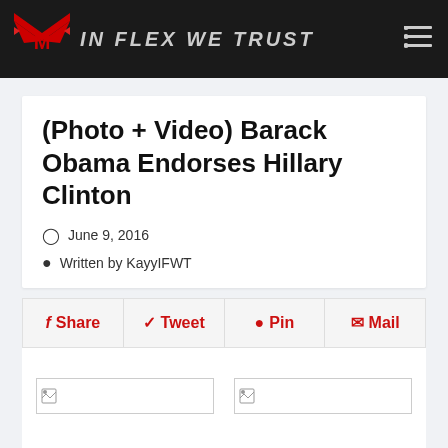IN FLEX WE TRUST
(Photo + Video) Barack Obama Endorses Hillary Clinton
June 9, 2016
Written by KayyIFWT
Share  Tweet  Pin  Mail
[Figure (photo): Broken image placeholder (left)]
[Figure (photo): Broken image placeholder (right)]